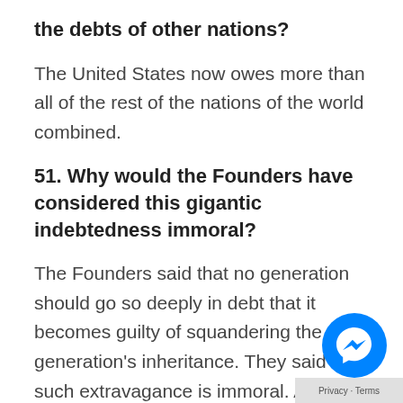the debts of other nations?
The United States now owes more than all of the rest of the nations of the world combined.
51. Why would the Founders have considered this gigantic indebtedness immoral?
The Founders said that no generation should go so deeply in debt that it becomes guilty of squandering the next generation's inheritance. They said such extravagance is immoral. All past generations tried to pay off